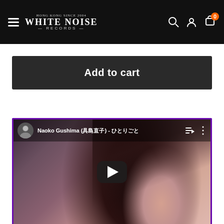[Figure (screenshot): White Noise Records website navigation bar with hamburger menu, logo, search icon, user icon, and cart icon with badge showing 0]
Add to cart
[Figure (screenshot): YouTube video embed showing Naoko Gushima (具島直子) video thumbnail with a woman with dark hair, play button overlay, avatar, video title in the top bar, and playlist/more icons]